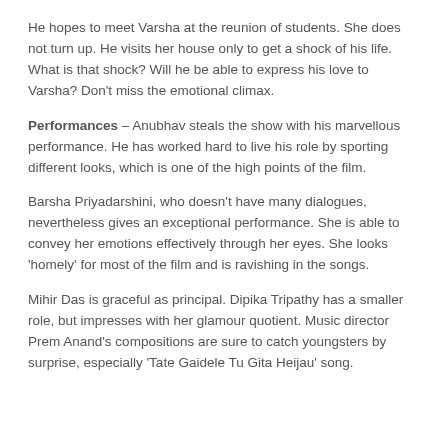He hopes to meet Varsha at the reunion of students. She does not turn up. He visits her house only to get a shock of his life. What is that shock? Will he be able to express his love to Varsha? Don't miss the emotional climax.
Performances – Anubhav steals the show with his marvellous performance. He has worked hard to live his role by sporting different looks, which is one of the high points of the film.
Barsha Priyadarshini, who doesn't have many dialogues, nevertheless gives an exceptional performance. She is able to convey her emotions effectively through her eyes. She looks 'homely' for most of the film and is ravishing in the songs.
Mihir Das is graceful as principal. Dipika Tripathy has a smaller role, but impresses with her glamour quotient. Music director Prem Anand's compositions are sure to catch youngsters by surprise, especially 'Tate Gaidele Tu Gita Heijau' song.